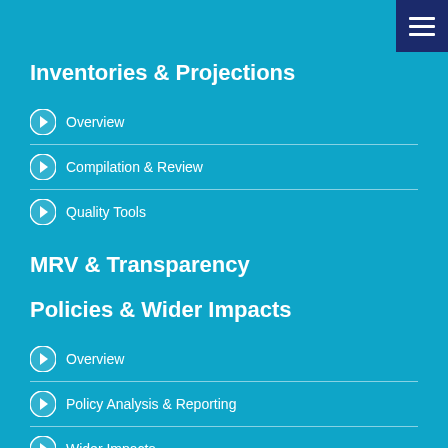Inventories & Projections
Overview
Compilation & Review
Quality Tools
MRV & Transparency
Policies & Wider Impacts
Overview
Policy Analysis & Reporting
Wider Impacts
Net Zero